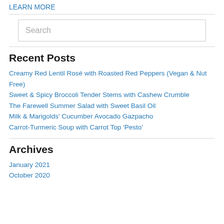LEARN MORE
Search
Recent Posts
Creamy Red Lentil Rosé with Roasted Red Peppers (Vegan & Nut Free)
Sweet & Spicy Broccoli Tender Stems with Cashew Crumble
The Farewell Summer Salad with Sweet Basil Oil
Milk & Marigolds' Cucumber Avocado Gazpacho
Carrot-Turmeric Soup with Carrot Top 'Pesto'
Archives
January 2021
October 2020